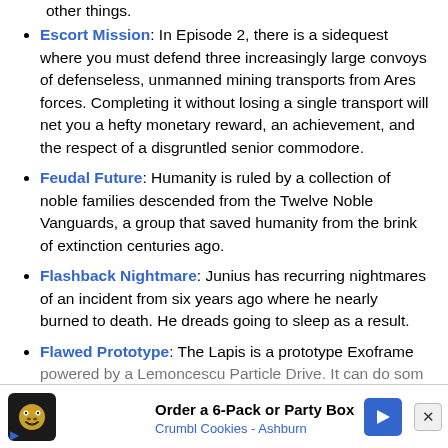other things.
Escort Mission: In Episode 2, there is a sidequest where you must defend three increasingly large convoys of defenseless, unmanned mining transports from Ares forces. Completing it without losing a single transport will net you a hefty monetary reward, an achievement, and the respect of a disgruntled senior commodore.
Feudal Future: Humanity is ruled by a collection of noble families descended from the Twelve Noble Vanguards, a group that saved humanity from the brink of extinction centuries ago.
Flashback Nightmare: Junius has recurring nightmares of an incident from six years ago where he nearly burned to death. He dreads going to sleep as a result.
Flawed Prototype: The Lapis is a prototype Exoframe powered by a Lemoncescu Particle Drive. It can do som
[Figure (other): Advertisement banner: Order a 6-Pack or Party Box - Crumbl Cookies - Ashburn, with cookie icon and blue arrow]